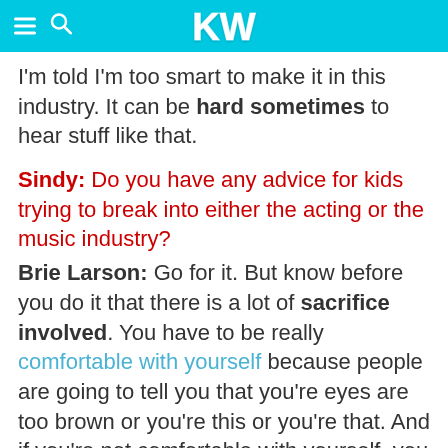KW
I'm told I'm too smart to make it in this industry. It can be hard sometimes to hear stuff like that.
Sindy: Do you have any advice for kids trying to break into either the acting or the music industry?
Brie Larson: Go for it. But know before you do it that there is a lot of sacrifice involved. You have to be really comfortable with yourself because people are going to tell you that you're eyes are too brown or you're this or you're that. And if you're not comfortable with yourself, you could get